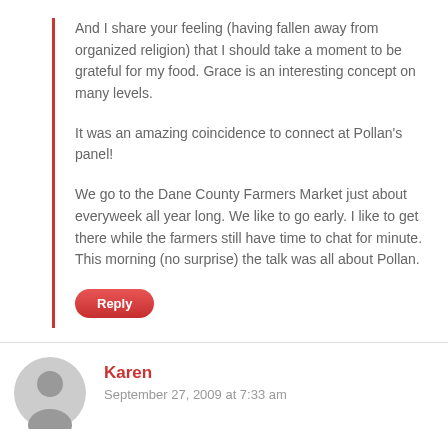And I share your feeling (having fallen away from organized religion) that I should take a moment to be grateful for my food. Grace is an interesting concept on many levels.
It was an amazing coincidence to connect at Pollan's panel!
We go to the Dane County Farmers Market just about everyweek all year long. We like to go early. I like to get there while the farmers still have time to chat for minute. This morning (no surprise) the talk was all about Pollan.
Reply
Karen
September 27, 2009 at 7:33 am
Wasn't that an incredibly exciting evening? What I enjoyed the most was hearing new ideas in community and seeing what resonated with other people. It's so much different than just listening to someone on TV alone in our homes.